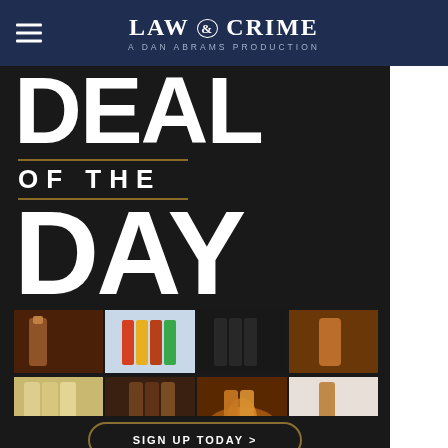LAW & CRIME — A DAN ABRAMS PRODUCTION
[Figure (infographic): Deal of the Day promotional graphic with large bold white text 'DEAL OF THE DAY' on dark background, with gold horizontal lines flanking 'OF THE']
[Figure (photo): Grid of 8 whiskey bottle photos in 2 rows of 4, showing various whiskey and bourbon bottles]
Want to find the best daily whiskey deals? Get them in your inbox every day.
SIGN UP TODAY >